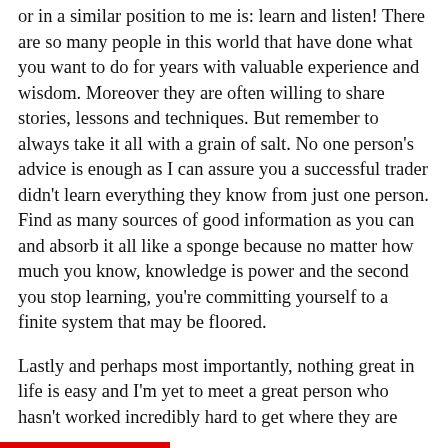or in a similar position to me is: learn and listen! There are so many people in this world that have done what you want to do for years with valuable experience and wisdom. Moreover they are often willing to share stories, lessons and techniques. But remember to always take it all with a grain of salt. No one person's advice is enough as I can assure you a successful trader didn't learn everything they know from just one person. Find as many sources of good information as you can and absorb it all like a sponge because no matter how much you know, knowledge is power and the second you stop learning, you're committing yourself to a finite system that may be floored.
Lastly and perhaps most importantly, nothing great in life is easy and I'm yet to meet a great person who hasn't worked incredibly hard to get where they are